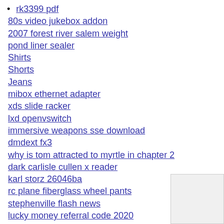rk3399 pdf
80s video jukebox addon
2007 forest river salem weight
pond liner sealer
Shirts
Shorts
Jeans
mibox ethernet adapter
xds slide racker
lxd openvswitch
immersive weapons sse download
dmdext fx3
why is tom attracted to myrtle in chapter 2
dark carlisle cullen x reader
karl storz 26046ba
rc plane fiberglass wheel pants
stephenville flash news
lucky money referral code 2020
1 32 slot car layouts
sheltered accommodation blackpool
rpc error code
nebraska bb gun laws
springfield armory double stack 1911
t5 sliding door
high pressure fernco coupling